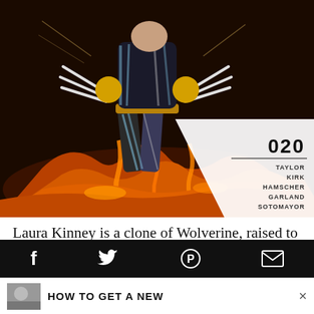[Figure (illustration): Comic book cover art showing a superhero character (Laura Kinney / X-23 / Wolverine) in a black and white costume with claws extended, standing over a fiery lava landscape. Issue number 020 with credits overlay on the lower right.]
Laura Kinney is a clone of Wolverine, raised to be a killing machine until she broke free from her captors and discovered that she had the capacity to do good instead of harm. Gabrielle Kinney is a clone of L...
f  Twitter  Pinterest  Email  |  HOW TO GET A NEW  ×